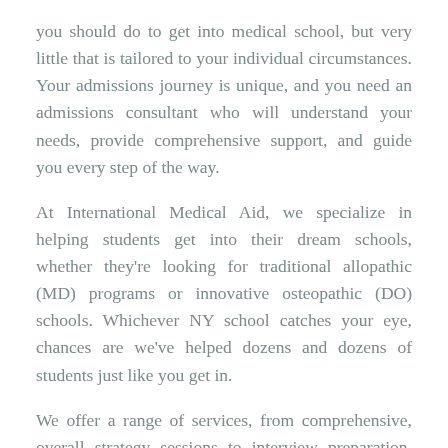you should do to get into medical school, but very little that is tailored to your individual circumstances. Your admissions journey is unique, and you need an admissions consultant who will understand your needs, provide comprehensive support, and guide you every step of the way.
At International Medical Aid, we specialize in helping students get into their dream schools, whether they're looking for traditional allopathic (MD) programs or innovative osteopathic (DO) schools. Whichever NY school catches your eye, chances are we've helped dozens and dozens of students just like you get in.
We offer a range of services, from comprehensive, overall strategy sessions to interview preparation, essay editing, and more. If you're applying to medical school, let us help you put your best foot forward so you can study where you most belong. Explore our medical school admissions consulting today and schedule a free